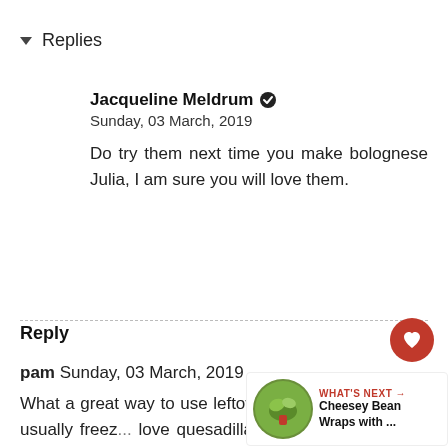▾ Replies
Jacqueline Meldrum ✓
Sunday, 03 March, 2019
Do try them next time you make bolognese Julia, I am sure you will love them.
Reply
pam Sunday, 03 March, 2019
What a great way to use leftover bolognese! I usually freez... love quesadillas and I know... love this!